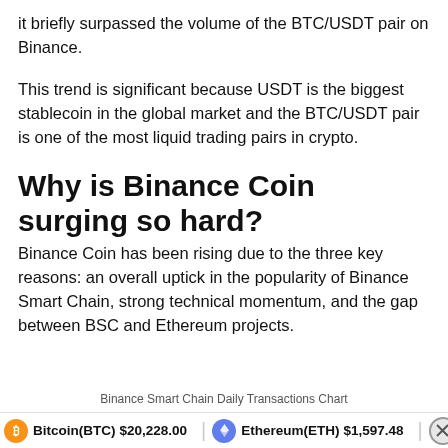it briefly surpassed the volume of the BTC/USDT pair on Binance.
This trend is significant because USDT is the biggest stablecoin in the global market and the BTC/USDT pair is one of the most liquid trading pairs in crypto.
Why is Binance Coin surging so hard?
Binance Coin has been rising due to the three key reasons: an overall uptick in the popularity of Binance Smart Chain, strong technical momentum, and the gap between BSC and Ethereum projects.
Binance Smart Chain Daily Transactions Chart
Bitcoin(BTC) $20,228.00    Ethereum(ETH) $1,597.48    XRP